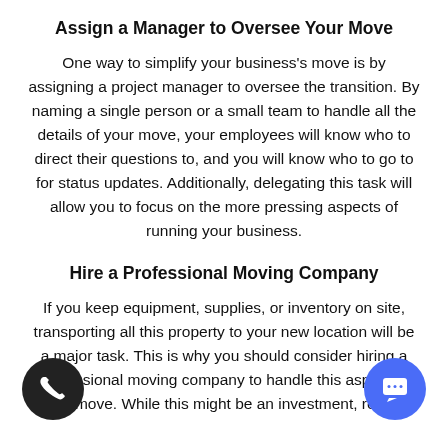Assign a Manager to Oversee Your Move
One way to simplify your business's move is by assigning a project manager to oversee the transition. By naming a single person or a small team to handle all the details of your move, your employees will know who to direct their questions to, and you will know who to go to for status updates. Additionally, delegating this task will allow you to focus on the more pressing aspects of running your business.
Hire a Professional Moving Company
If you keep equipment, supplies, or inventory on site, transporting all this property to your new location will be a major task. This is why you should consider hiring a professional moving company to handle this aspect of your move. While this might be an investment, relying